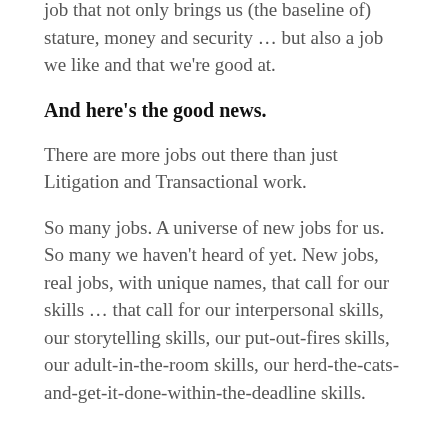job that not only brings us (the baseline of) stature, money and security … but also a job we like and that we're good at.
And here's the good news.
There are more jobs out there than just Litigation and Transactional work.
So many jobs. A universe of new jobs for us. So many we haven't heard of yet. New jobs, real jobs, with unique names, that call for our skills … that call for our interpersonal skills, our storytelling skills, our put-out-fires skills, our adult-in-the-room skills, our herd-the-cats-and-get-it-done-within-the-deadline skills.